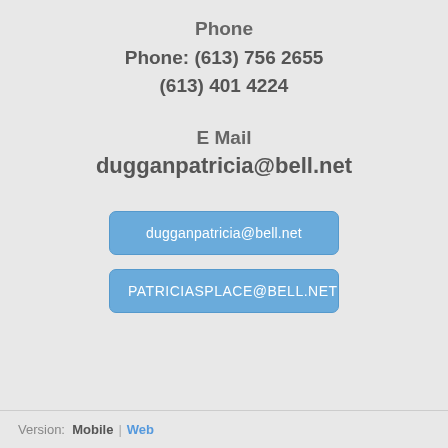Phone
Phone: (613) 756 2655
(613) 401 4224
E Mail
dugganpatricia@bell.net
dugganpatricia@bell.net
PATRICIASPLACE@BELL.NET
Version:  Mobile | Web